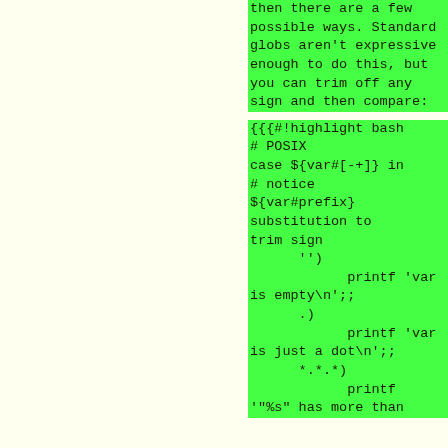then there are a few possible ways. Standard globs aren't expressive enough to do this, but you can trim off any sign and then compare:
{{{#!highlight bash
# POSIX
case ${var#[-+]} in
# notice ${var#prefix} substitution to trim sign
        '')
                printf 'var is empty\n';;
        .)
                printf 'var is just a dot\n';;
        *.*.*)                printf '"%s" has more than